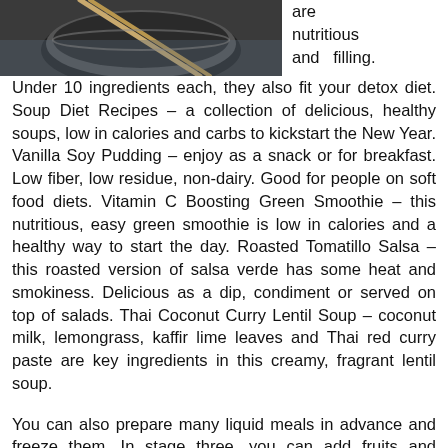[Figure (photo): Close-up photo of a bowl with chopsticks resting on it, dark background, food/cooking context]
are nutritious and filling. Under 10 ingredients each, they also fit your detox diet. Soup Diet Recipes – a collection of delicious, healthy soups, low in calories and carbs to kickstart the New Year. Vanilla Soy Pudding – enjoy as a snack or for breakfast. Low fiber, low residue, non-dairy. Good for people on soft food diets. Vitamin C Boosting Green Smoothie – this nutritious, easy green smoothie is low in calories and a healthy way to start the day. Roasted Tomatillo Salsa – this roasted version of salsa verde has some heat and smokiness. Delicious as a dip, condiment or served on top of salads. Thai Coconut Curry Lentil Soup – coconut milk, lemongrass, kaffir lime leaves and Thai red curry paste are key ingredients in this creamy, fragrant lentil soup.
You can also prepare many liquid meals in advance and freeze them. In stage three, you can add fruits and veggies that have been chopped into tiny pieces or mashed up. Cat